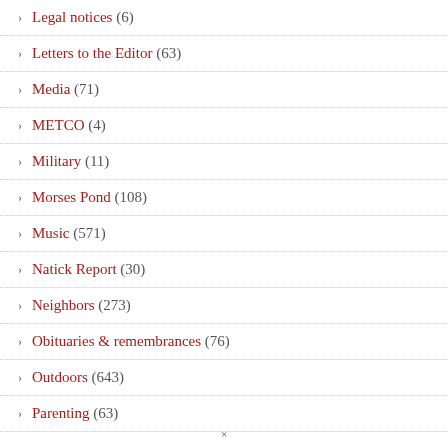Legal notices (6)
Letters to the Editor (63)
Media (71)
METCO (4)
Military (11)
Morses Pond (108)
Music (571)
Natick Report (30)
Neighbors (273)
Obituaries & remembrances (76)
Outdoors (643)
Parenting (63)
×